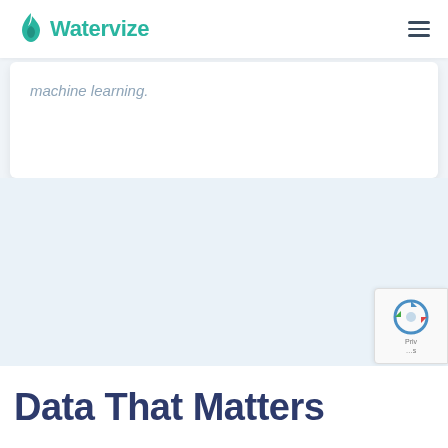Watervize
machine learning.
Data That Matters